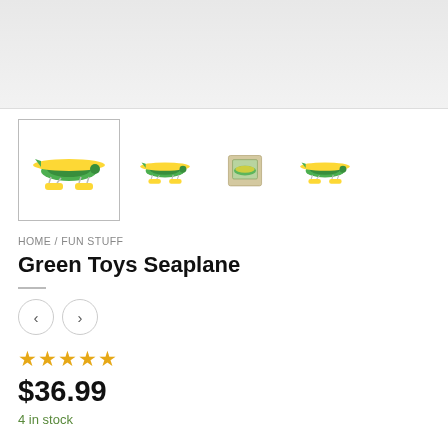[Figure (photo): Top banner area with light gray background, partially visible product or header image]
[Figure (photo): Four product images of Green Toys Seaplane toy (green and yellow seaplane). First image is the main selected thumbnail with border, followed by three smaller thumbnail images.]
HOME / FUN STUFF
Green Toys Seaplane
[Figure (other): Navigation arrows: left chevron circle and right chevron circle]
★★★★★
$36.99
4 in stock